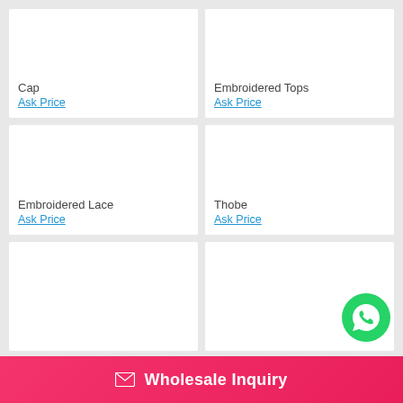Cap
Ask Price
Embroidered Tops
Ask Price
Embroidered Lace
Ask Price
Thobe
Ask Price
[Figure (other): Partial product card (bottom row left) - white card, product image area visible]
[Figure (other): Partial product card (bottom row right) - white card with WhatsApp button overlay]
Wholesale Inquiry